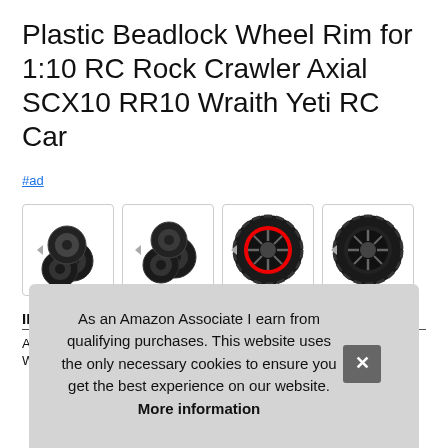Plastic Beadlock Wheel Rim for 1:10 RC Rock Crawler Axial SCX10 RR10 Wraith Yeti RC Car
#ad
[Figure (photo): Four product thumbnail images of RC car beadlock wheel rims. First: set of four black tires. Second: group of four black tires close up. Third: single tire with red and black beadlock rim. Fourth: single tire with black beadlock rim.]
INJORA...
Agg...
With...
As an Amazon Associate I earn from qualifying purchases. This website uses the only necessary cookies to ensure you get the best experience on our website. More information